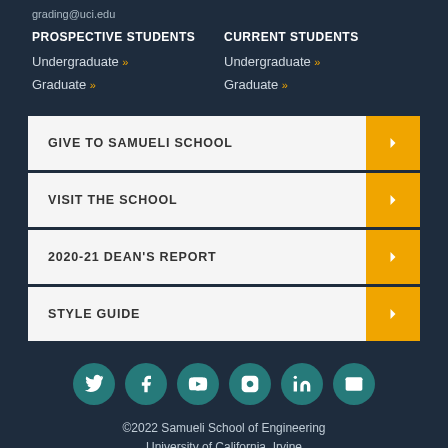grading@uci.edu
PROSPECTIVE STUDENTS
Undergraduate »
Graduate »
CURRENT STUDENTS
Undergraduate »
Graduate »
GIVE TO SAMUELI SCHOOL
VISIT THE SCHOOL
2020-21 DEAN'S REPORT
STYLE GUIDE
[Figure (infographic): Social media icons: Twitter, Facebook, YouTube, Instagram, LinkedIn, Email]
©2022 Samueli School of Engineering
University of California, Irvine